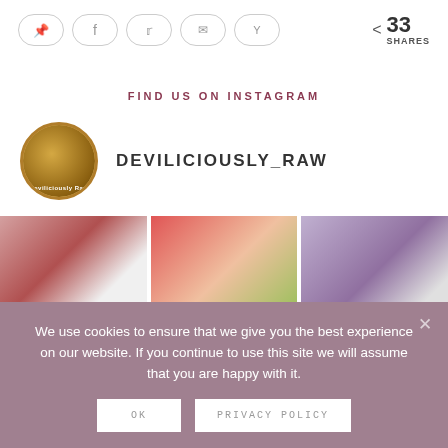[Figure (screenshot): Social share buttons row with Pinterest, Facebook, Twitter, Email, Yummly icons in pill-shaped borders, plus share count showing 33 SHARES]
FIND US ON INSTAGRAM
[Figure (screenshot): Instagram profile avatar (circular photo of a dessert) with username DEVILICIOUSLY_RAW]
[Figure (photo): Three Instagram food photos in a grid: a chocolate cake with cherries and cream, a red glazed cheesecake with edible flowers, and purple lavender bars topped with blueberries]
We use cookies to ensure that we give you the best experience on our website. If you continue to use this site we will assume that you are happy with it.
OK
PRIVACY POLICY